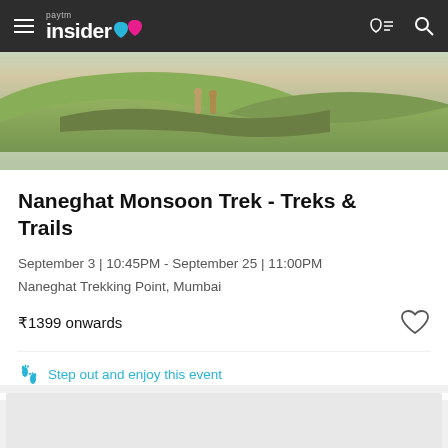Paytm Insider
[Figure (photo): Outdoor monsoon trekking scene with green hills and two people standing at the edge of a cliff]
Naneghat Monsoon Trek - Treks & Trails
September 3 | 10:45PM - September 25 | 11:00PM
Naneghat Trekking Point, Mumbai
₹1399 onwards
Step out and enjoy this event